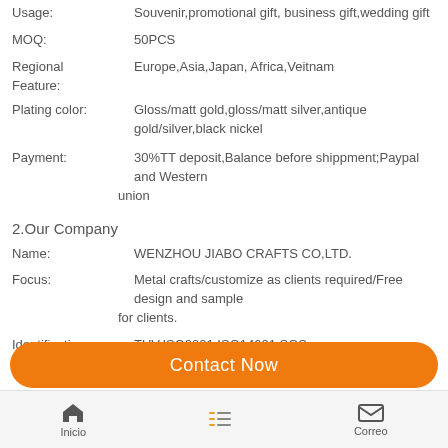Usage: Souvenir,promotional gift, business gift,wedding gift
MOQ: 50PCS
Regional Feature: Europe,Asia,Japan, Africa,Veitnam
Plating color: Gloss/matt gold,gloss/matt silver,antique gold/silver,black nickel
Payment: 30%TT deposit,Balance before shippment;Paypal and Western union
2.Our Company
Name: WENZHOU JIABO CRAFTS CO,LTD.
Focus: Metal crafts/customize as clients required/Free design and sample for clients.
Identification:TUV,ISO9001,ISO14001,SGS
Experience: 10 years experiences for custom metal products.
ADD: No. 136, Haihua Road, Binhai New Industrial Area, Pingyang County, Wenzhou, Zhejiang, China.
Contact Now
Inicio  Correo